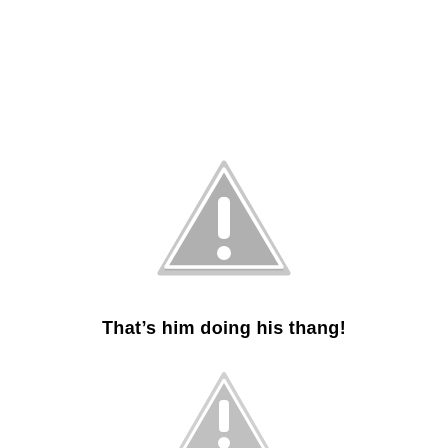[Figure (illustration): Gray warning triangle icon with exclamation mark, larger size, centered in upper portion of page]
That’s him doing his thang!
[Figure (illustration): Gray warning triangle icon with exclamation mark, smaller size, centered in lower portion of page]